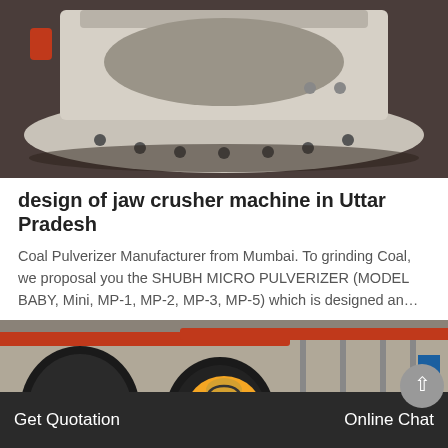[Figure (photo): Industrial jaw crusher machine, large grey metal industrial equipment viewed from above/side, set on a dark floor in a factory]
design of jaw crusher machine in Uttar Pradesh
Coal Pulverizer Manufacturer from Mumbai. To grinding Coal, we proposal you the SHUBH MICRO PULVERIZER (MODEL BABY, Mini, MP-1, MP-2, MP-3, MP-5) which is designed an…
GET PRICE
[Figure (photo): Industrial factory interior with large red/black cylindrical rollers or drums, overhead crane beams visible, steel structure in background]
Get Quotation   Online Chat